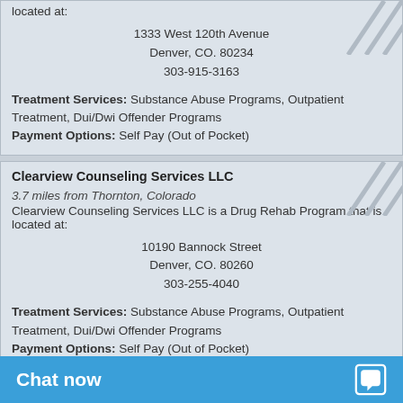located at:
1333 West 120th Avenue
Denver, CO. 80234
303-915-3163
Treatment Services: Substance Abuse Programs, Outpatient Treatment, Dui/Dwi Offender Programs
Payment Options: Self Pay (Out of Pocket)
Clearview Counseling Services LLC
3.7 miles from Thornton, Colorado
Clearview Counseling Services LLC is a Drug Rehab Program that is located at:
10190 Bannock Street
Denver, CO. 80260
303-255-4040
Treatment Services: Substance Abuse Programs, Outpatient Treatment, Dui/Dwi Offender Programs
Payment Options: Self Pay (Out of Pocket)
Ideas Directed at Eliminating Abuse
4.6 miles from Thornton, Colorado
Ideas Directed at Eliminating ... is a Drug Rehab Program that is located at: